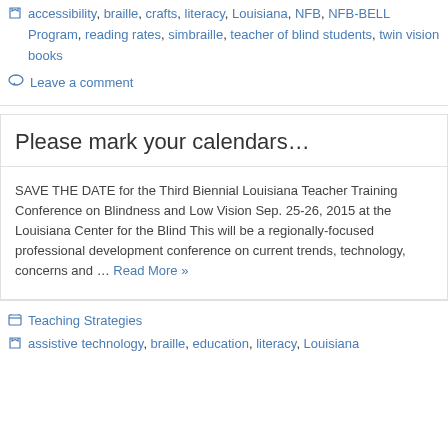accessibility, braille, crafts, literacy, Louisiana, NFB, NFB-BELL Program, reading rates, simbraille, teacher of blind students, twin vision books
Leave a comment
Please mark your calendars…
SAVE THE DATE for the Third Biennial Louisiana Teacher Training Conference on Blindness and Low Vision Sep. 25-26, 2015 at the Louisiana Center for the Blind This will be a regionally-focused professional development conference on current trends, technology, concerns and … Read More »
Teaching Strategies
assistive technology, braille, education, literacy, Louisiana